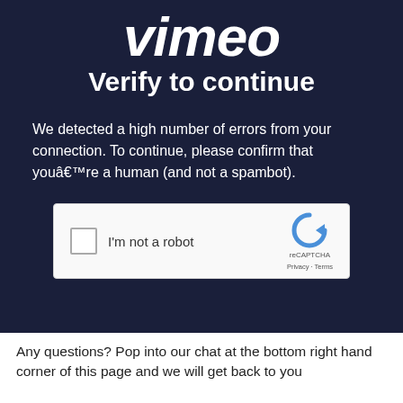vimeo
Verify to continue
We detected a high number of errors from your connection. To continue, please confirm that youâ€™re a human (and not a spambot).
[Figure (screenshot): reCAPTCHA widget with checkbox labeled I'm not a robot and reCAPTCHA logo with Privacy and Terms links]
Any questions? Pop into our chat at the bottom right hand corner of this page and we will get back to you